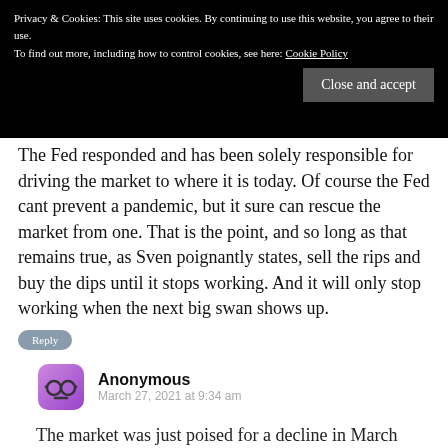[Figure (screenshot): Cookie consent banner with black background. Text reads: 'Privacy & Cookies: This site uses cookies. By continuing to use this website, you agree to their use. To find out more, including how to control cookies, see here: Cookie Policy'. Contains a 'Close and accept' button.]
The Fed responded and has been solely responsible for driving the market to where it is today. Of course the Fed cant prevent a pandemic, but it sure can rescue the market from one. That is the point, and so long as that remains true, as Sven poignantly states, sell the rips and buy the dips until it stops working. And it will only stop working when the next big swan shows up.
Reply
Anonymous
March 27, 2021 at 9:34 am
The market was just poised for a decline in March